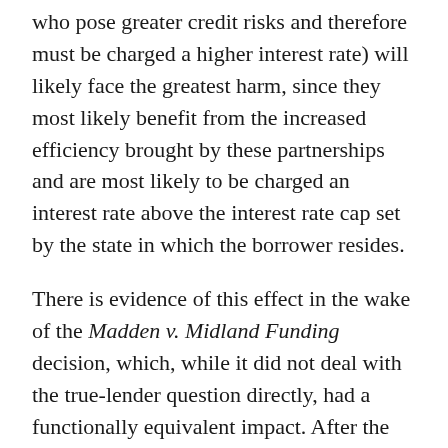who pose greater credit risks and therefore must be charged a higher interest rate) will likely face the greatest harm, since they most likely benefit from the increased efficiency brought by these partnerships and are most likely to be charged an interest rate above the interest rate cap set by the state in which the borrower resides.
There is evidence of this effect in the wake of the Madden v. Midland Funding decision, which, while it did not deal with the true-lender question directly, had a functionally equivalent impact. After the Madden decision, funding for loans issued by banks in conjunction with nonbank “marketplace lenders” (a type of loan implicated by true-lender considerations)